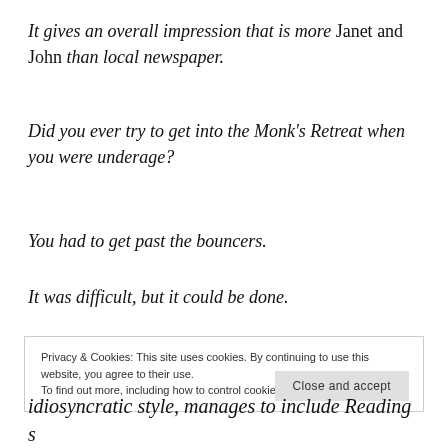It gives an overall impression that is more Janet and John than local newspaper.
Did you ever try to get into the Monk's Retreat when you were underage?
You had to get past the bouncers.
It was difficult, but it could be done.
Privacy & Cookies: This site uses cookies. By continuing to use this website, you agree to their use.
To find out more, including how to control cookies, see here: Cookie Policy
Close and accept
idiosyncratic style, manages to include Reading s